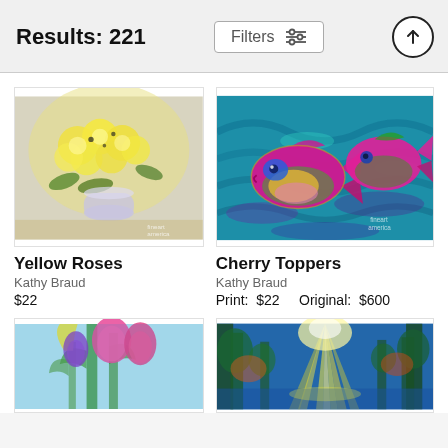Results: 221
[Figure (screenshot): Filters button with sliders icon]
[Figure (illustration): Yellow roses in a white vase painting]
Yellow Roses
Kathy Braud
$22
[Figure (illustration): Cherry Toppers - two colorful tropical fish painting on blue background]
Cherry Toppers
Kathy Braud
Print: $22    Original: $600
[Figure (illustration): Colorful tulips painting - partial view at bottom]
[Figure (illustration): Colorful forest with sunbeams painting - partial view at bottom]